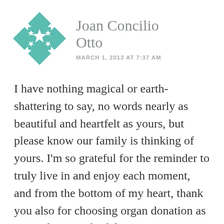[Figure (logo): Teal/green geometric quilt-star logo icon]
Joan Concilio Otto
MARCH 1, 2013 AT 7:37 AM
I have nothing magical or earth-shattering to say, no words nearly as beautiful and heartfelt as yours, but please know our family is thinking of yours. I'm so grateful for the reminder to truly live in and enjoy each moment, and from the bottom of my heart, thank you also for choosing organ donation as a way for Patrick's life to continue to touch others. Much, much